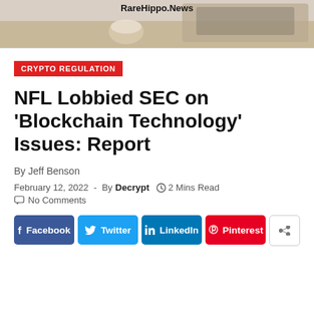[Figure (photo): Banner image with RareHippo.News site name and a photo of a desk/workspace in the background]
CRYPTO REGULATION
NFL Lobbied SEC on 'Blockchain Technology' Issues: Report
By Jeff Benson
February 12, 2022  -  By Decrypt   2 Mins Read
No Comments